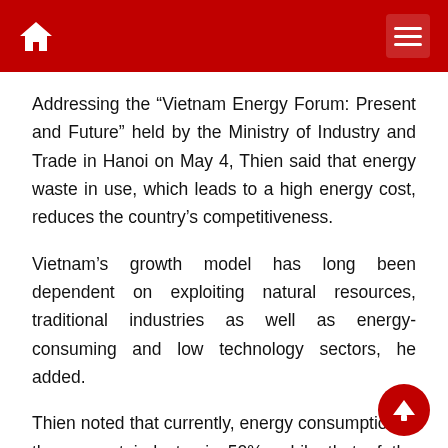Vietnam Energy Forum header navigation bar
Addressing the “Vietnam Energy Forum: Present and Future” held by the Ministry of Industry and Trade in Hanoi on May 4, Thien said that energy waste in use, which leads to a high energy cost, reduces the country’s competitiveness.
Vietnam’s growth model has long been dependent on exploiting natural resources, traditional industries as well as energy-consuming and low technology sectors, he added.
Thien noted that currently, energy consumption in the cement industry is 50%, while that of the pottery industry is 25%; garment and textile 20%; steel 20%; and